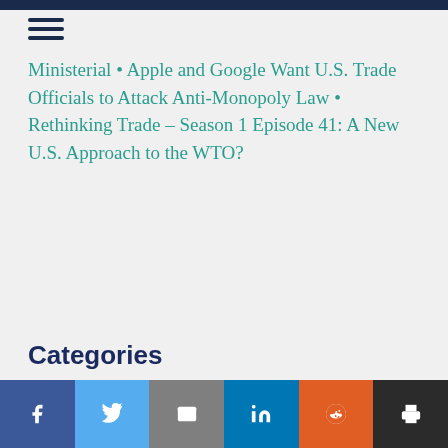Ministerial • Apple and Google Want U.S. Trade Officials to Attack Anti-Monopoly Law • Rethinking Trade – Season 1 Episode 41: A New U.S. Approach to the WTO?
Categories
Andean and Panama FTAs (297)
Asian FTAs (199)
Books (9)
CAFTA (76)
China (46)
See More